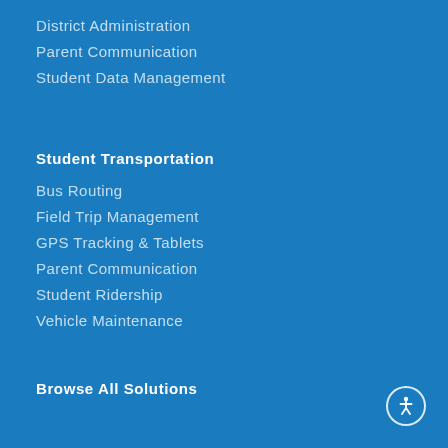District Administration
Parent Communication
Student Data Management
Student Transportation
Bus Routing
Field Trip Management
GPS Tracking & Tablets
Parent Communication
Student Ridership
Vehicle Maintenance
Browse All Solutions